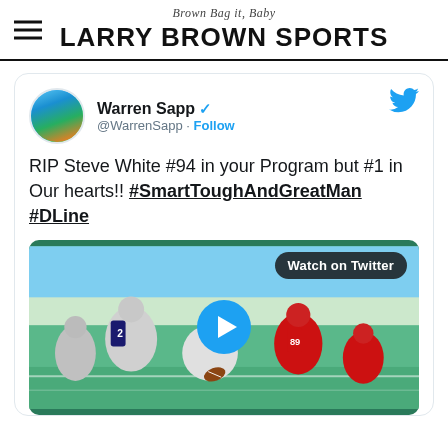Brown Bag it, Baby — LARRY BROWN SPORTS
Warren Sapp @WarrenSapp · Follow
RIP Steve White #94 in your Program but #1 in Our hearts!! #SmartToughAndGreatMan #DLine
[Figure (screenshot): Video thumbnail showing a football game with players at the line of scrimmage. A blue play button is shown in the center. A 'Watch on Twitter' badge is in the top right.]